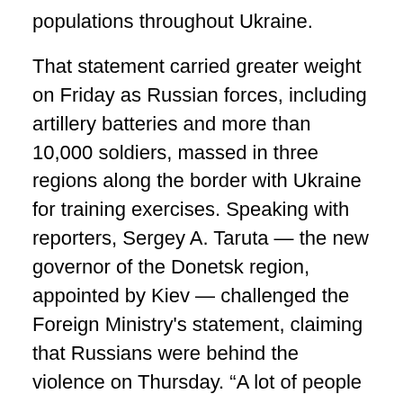populations throughout Ukraine.
That statement carried greater weight on Friday as Russian forces, including artillery batteries and more than 10,000 soldiers, massed in three regions along the border with Ukraine for training exercises. Speaking with reporters, Sergey A. Taruta — the new governor of the Donetsk region, appointed by Kiev — challenged the Foreign Ministry's statement, claiming that Russians were behind the violence on Thursday. “A lot of people concentrated there were not from Ukraine,” he said, implying that they had come from Russia.
A Western official, citing secret intelligence reports, said that thousands of Russian citizens were being bused into Donetsk and other eastern Ukrainian cities under the supervision of Russian intelligence officers.
Few in Donetsk have not formed an opinion about the